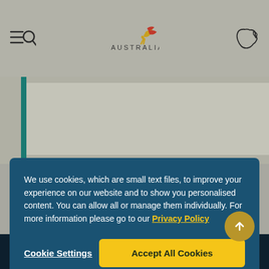[Figure (screenshot): Australia.com website header with hamburger/search icon on left, Australia logo with stylised bird in centre, and Australia map outline icon on right, on grey background]
We use cookies, which are small text files, to improve your experience on our website and to show you personalised content. You can allow all or manage them individually. For more information please go to our Privacy Policy
Cookie Settings
Accept All Cookies